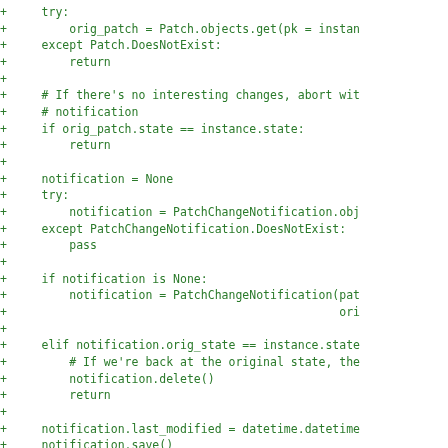[Figure (screenshot): A code diff snippet showing Python code in green monospaced font on white background. Each line is prefixed with a '+' character indicating added lines. The code shows a Django signal handler for patch change notifications.]